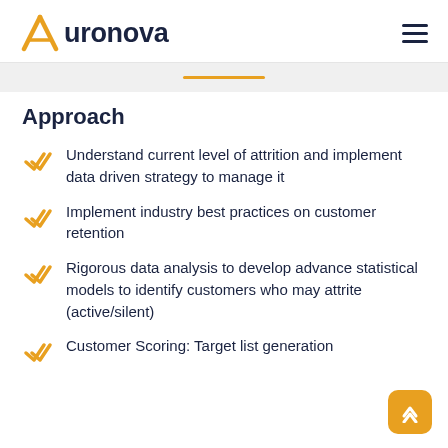Auronova
Approach
Understand current level of attrition and implement data driven strategy to manage it
Implement industry best practices on customer retention
Rigorous data analysis to develop advance statistical models to identify customers who may attrite (active/silent)
Customer Scoring: Target list generation